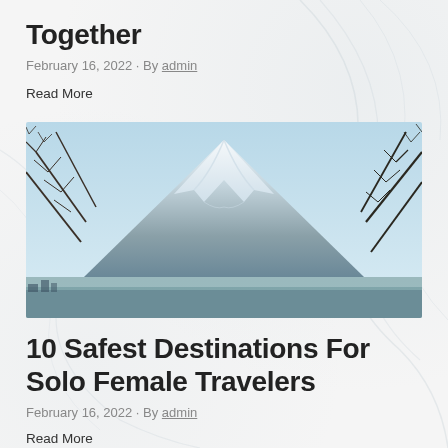Together
February 16, 2022 · By admin
Read More
[Figure (photo): Photo of Mount Fuji with snow-capped peak, surrounded by bare tree branches in the foreground, light blue sky in the background]
10 Safest Destinations For Solo Female Travelers
February 16, 2022 · By admin
Read More